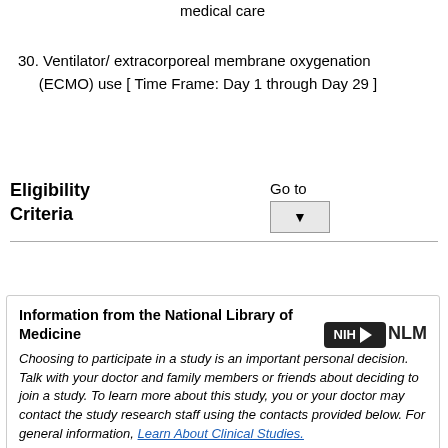medical care
30. Ventilator/ extracorporeal membrane oxygenation (ECMO) use [ Time Frame: Day 1 through Day 29 ]
Eligibility Criteria
Go to [dropdown]
Information from the National Library of Medicine
Choosing to participate in a study is an important personal decision. Talk with your doctor and family members or friends about deciding to join a study. To learn more about this study, you or your doctor may contact the study research staff using the contacts provided below. For general information, Learn About Clinical Studies.